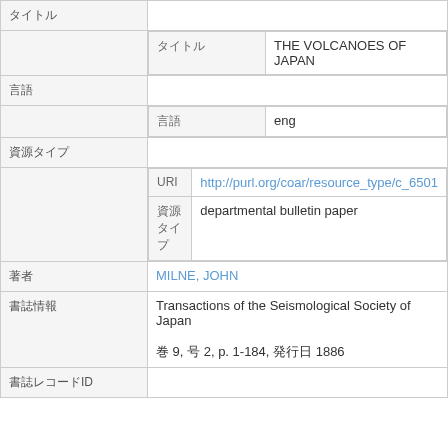| タイトル |  |  |
|  | タイトル | THE VOLCANOES OF JAPAN |
| 言語 |  |  |
|  | 言語 | eng |
| 資源タイプ |  |  |
|  | URI | http://purl.org/coar/resource_type/c_6501 |
|  | 資源タイプ | departmental bulletin paper |
| 著者 |  | MILNE, JOHN |
| 書誌情報 |  | Transactions of the Seismological Society of Japan
巻 9, 号 2, p. 1-184, 発行日 1886 |
| 書誌レコードID |  |  |